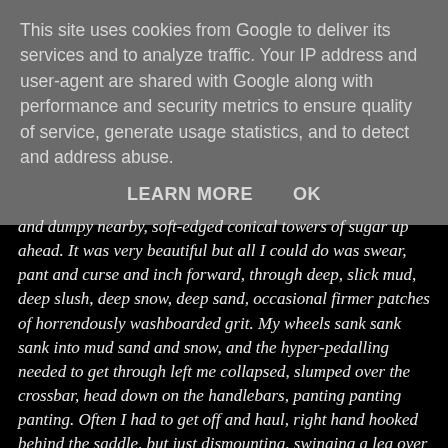This site uses cookies from Google to deliver its services and to analyze traffic. Your IP address and user-agent are shared with Google along with performance and security metrics to ensure quality of service, generate usage statistics, and to detect and address abuse.
LEARN MORE   OK
and dumpy nearby, soft-edged conical towers of sugar up ahead. It was very beautiful but all I could do was swear, pant and curse and inch forward, through deep, slick mud, deep slush, deep snow, deep sand, occasional firmer patches of horrendously washboarded grit. My wheels sank sank sank into mud sand and snow, and the hyper-pedalling needed to get through left me collapsed, slumped over the crossbar, head down on the handlebars, panting panting panting. Often I had to get off and haul, right hand hooked behind the saddle, but just dismounting, swinging a leg over the saddle, left me breathless before I could begin.
Budongquan was in sight but never getting closer, all I could think of was being benighted 10 kilometres from the cluster